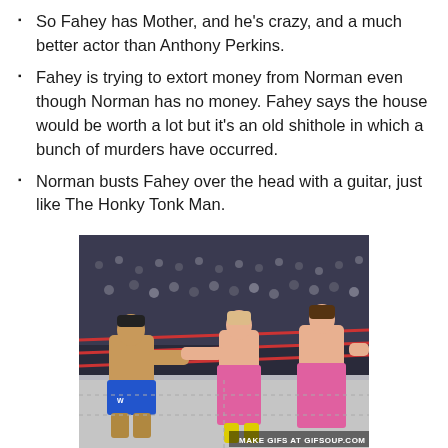So Fahey has Mother, and he's crazy, and a much better actor than Anthony Perkins.
Fahey is trying to extort money from Norman even though Norman has no money. Fahey says the house would be worth a lot but it's an old shithole in which a bunch of murders have occurred.
Norman busts Fahey over the head with a guitar, just like The Honky Tonk Man.
[Figure (photo): A wrestling match scene showing wrestlers in a ring, one wearing blue trunks (WWE logo visible), others in pink outfits, with a crowd in the background. Watermark reads MAKE GIFS AT GIFSOUP.COM]